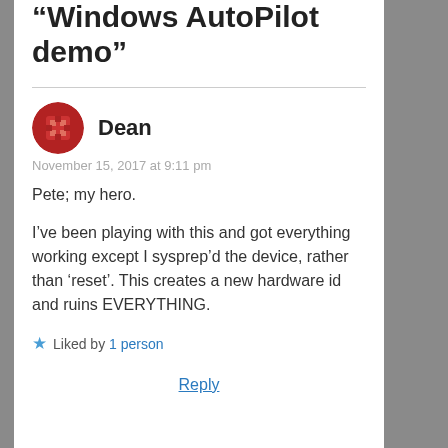thoughts on “Windows AutoPilot demo”
Dean
November 15, 2017 at 9:11 pm
Pete; my hero.
I’ve been playing with this and got everything working except I sysprep’d the device, rather than ‘reset’. This creates a new hardware id and ruins EVERYTHING.
Liked by 1 person
Reply